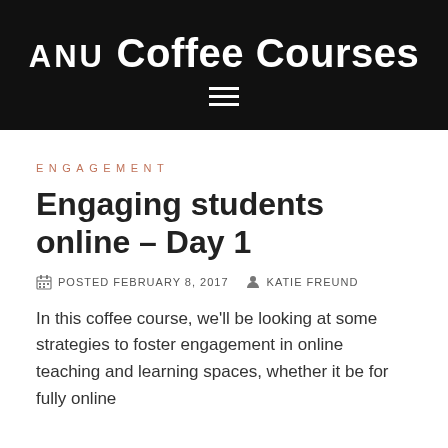ANU Coffee Courses
ENGAGEMENT
Engaging students online – Day 1
POSTED FEBRUARY 8, 2017   KATIE FREUND
In this coffee course, we'll be looking at some strategies to foster engagement in online teaching and learning spaces, whether it be for fully online